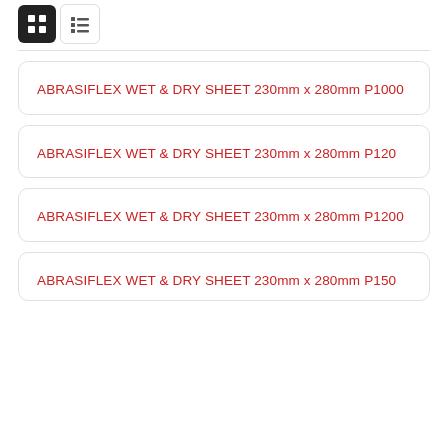[Figure (other): Two view toggle buttons: a filled dark grid/tile icon and a list icon on white background]
ABRASIFLEX WET & DRY SHEET 230mm x 280mm P1000
ABRASIFLEX WET & DRY SHEET 230mm x 280mm P120
ABRASIFLEX WET & DRY SHEET 230mm x 280mm P1200
ABRASIFLEX WET & DRY SHEET 230mm x 280mm P150